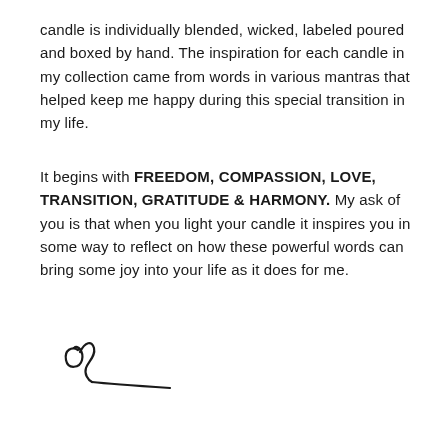candle is individually blended, wicked, labeled poured and boxed by hand. The inspiration for each candle in my collection came from words in various mantras that helped keep me happy during this special transition in my life.
It begins with FREEDOM, COMPASSION, LOVE, TRANSITION, GRATITUDE & HARMONY. My ask of you is that when you light your candle it inspires you in some way to reflect on how these powerful words can bring some joy into your life as it does for me.
[Figure (illustration): A handwritten signature in black ink]